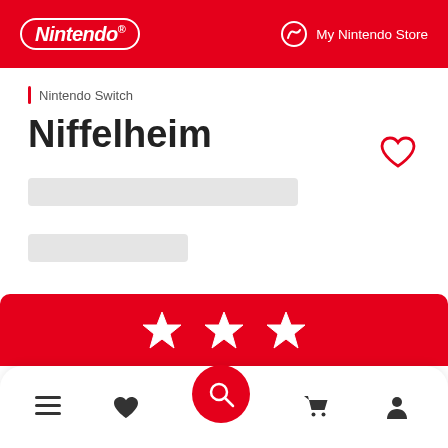Nintendo | My Nintendo Store
Nintendo Switch
Niffelheim
[Figure (other): Loading placeholder bars (greyed out content placeholders)]
[Figure (other): Heart/wishlist icon button (red outline heart)]
[Figure (other): Rating stars section - three white star icons on red background]
Bottom navigation bar with menu, heart, search, cart, and profile icons